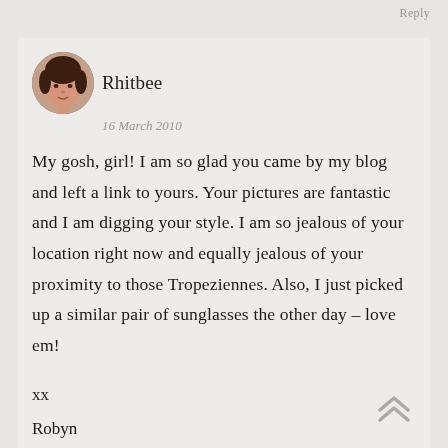Reply
[Figure (photo): Circular avatar photo of a woman with dark hair]
Rhitbee
16 March 2010
My gosh, girl! I am so glad you came by my blog and left a link to yours. Your pictures are fantastic and I am digging your style. I am so jealous of your location right now and equally jealous of your proximity to those Tropeziennes. Also, I just picked up a similar pair of sunglasses the other day – love em!
xx
Robyn